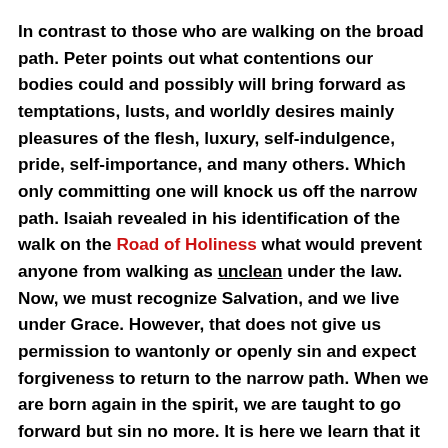In contrast to those who are walking on the broad path. Peter points out what contentions our bodies could and possibly will bring forward as temptations, lusts, and worldly desires mainly pleasures of the flesh, luxury, self-indulgence, pride, self-importance, and many others. Which only committing one will knock us off the narrow path. Isaiah revealed in his identification of the walk on the Road of Holiness what would prevent anyone from walking as unclean under the law. Now, we must recognize Salvation, and we live under Grace. However, that does not give us permission to wantonly or openly sin and expect forgiveness to return to the narrow path. When we are born again in the spirit, we are taught to go forward but sin no more. It is here we learn that it becomes our